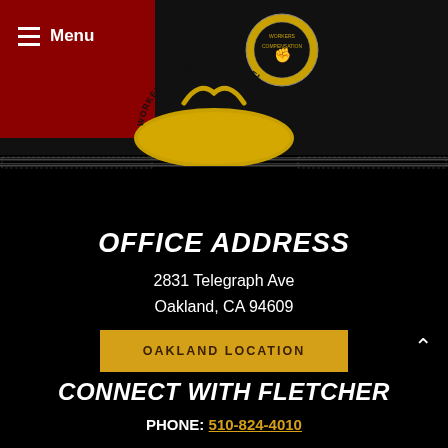Menu
[Figure (logo): Workers Compensation Firm circular logo/seal badge in gold and black]
OFFICE ADDRESS
2831 Telegraph Ave
Oakland, CA 94609
OAKLAND LOCATION
CONNECT WITH FLETCHER
PHONE: 510-824-4010